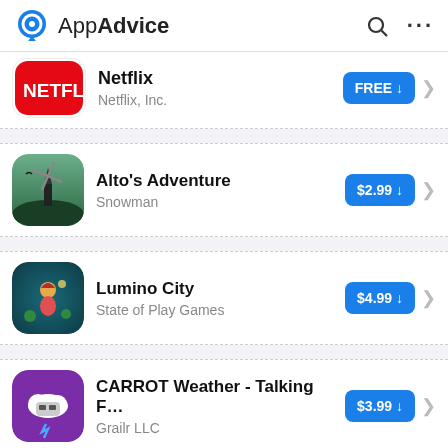AppAdvice
Netflix — Netflix, Inc. — FREE
Alto's Adventure — Snowman — $2.99
Lumino City — State of Play Games — $4.99
CARROT Weather - Talking F... — Grailr LLC — $3.99